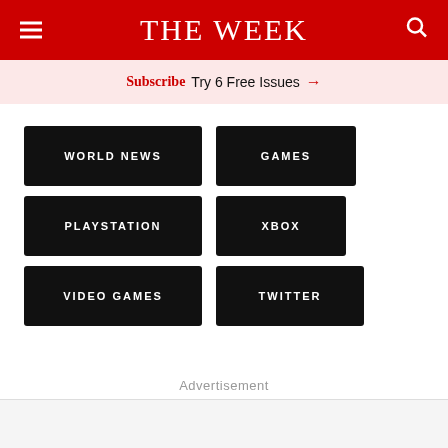THE WEEK
Subscribe Try 6 Free Issues →
WORLD NEWS
GAMES
PLAYSTATION
XBOX
VIDEO GAMES
TWITTER
Advertisement